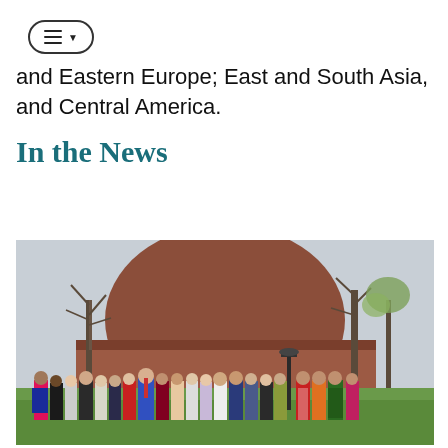menu button / navigation
and Eastern Europe; East and South Asia, and Central America.
In the News
[Figure (photo): Group photo of approximately 20 people standing outdoors on a lawn in front of a brick building with bare and budding trees. The group is dressed in a mix of formal Western attire and traditional South Asian clothing including colorful saris. Some individuals wear name badges.]